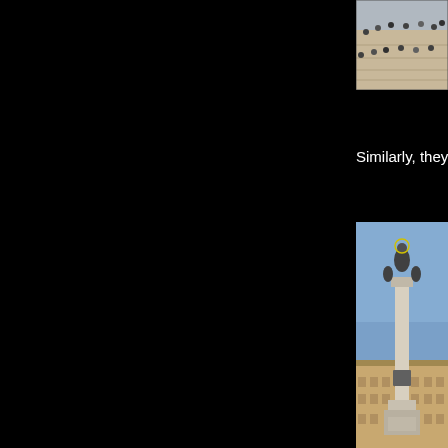[Figure (photo): Partial view of people sitting on steps, likely ancient Roman steps, cropped at right side of page]
Similarly, they have a couple of Jesuses standi
[Figure (photo): Tall column monument topped with a statue of the Virgin Mary (Column of the Immaculate Conception), set against blue sky with Roman buildings in the background]